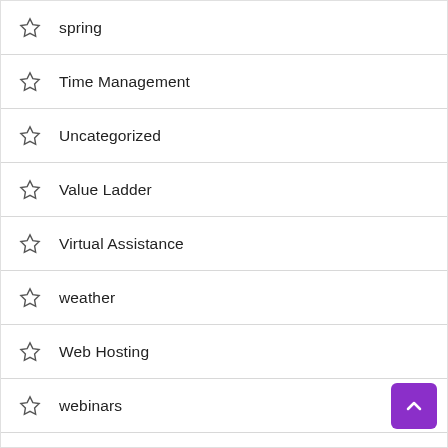spring
Time Management
Uncategorized
Value Ladder
Virtual Assistance
weather
Web Hosting
webinars
Website Design
winter
Wo...